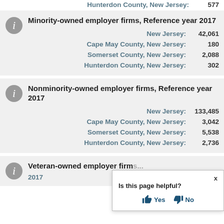Hunterdon County, New Jersey: 577
Minority-owned employer firms, Reference year 2017
New Jersey: 42,061
Cape May County, New Jersey: 180
Somerset County, New Jersey: 2,088
Hunterdon County, New Jersey: 302
Nonminority-owned employer firms, Reference year 2017
New Jersey: 133,485
Cape May County, New Jersey: 3,042
Somerset County, New Jersey: 5,538
Hunterdon County, New Jersey: 2,736
Veteran-owned employer firms, Reference year 2017
[Figure (screenshot): Is this page helpful? Yes / No tooltip overlay]